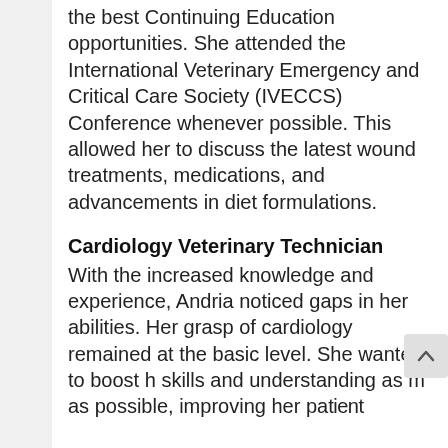the best Continuing Education opportunities. She attended the International Veterinary Emergency and Critical Care Society (IVECCS) Conference whenever possible. This allowed her to discuss the latest wound treatments, medications, and advancements in diet formulations.
Cardiology Veterinary Technician
With the increased knowledge and experience, Andria noticed gaps in her abilities. Her grasp of cardiology remained at the basic level. She wanted to boost h skills and understanding as m as possible, improving her patient